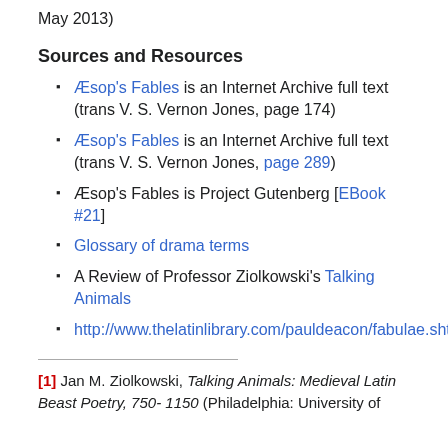May 2013)
Sources and Resources
Æsop's Fables is an Internet Archive full text (trans V. S. Vernon Jones, page 174)
Æsop's Fables is an Internet Archive full text (trans V. S. Vernon Jones, page 289)
Æsop's Fables is Project Gutenberg [EBook #21]
Glossary of drama terms
A Review of Professor Ziolkowski's Talking Animals
http://www.thelatinlibrary.com/pauldeacon/fabulae.shtml
[1] Jan M. Ziolkowski, Talking Animals: Medieval Latin Beast Poetry, 750- 1150 (Philadelphia: University of